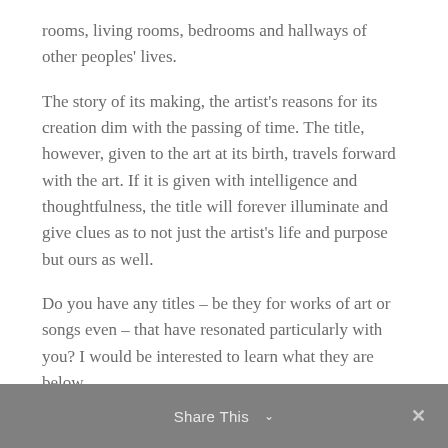rooms, living rooms, bedrooms and hallways of other peoples' lives.
The story of its making, the artist's reasons for its creation dim with the passing of time. The title, however, given to the art at its birth, travels forward with the art. If it is given with intelligence and thoughtfulness, the title will forever illuminate and give clues as to not just the artist's life and purpose but ours as well.
Do you have any titles – be they for works of art or songs even – that have resonated particularly with you? I would be interested to learn what they are below.
Namely, Nicholas
Share This ∨  ×